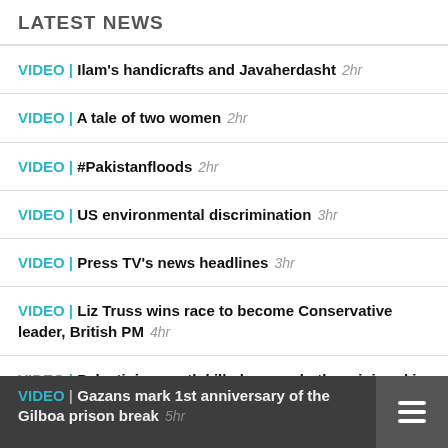LATEST NEWS
VIDEO | Ilam's handicrafts and Javaherdasht  2hr
VIDEO | A tale of two women  2hr
VIDEO | #Pakistanfloods  2hr
VIDEO | US environmental discrimination  3hr
VIDEO | Press TV's news headlines  3hr
VIDEO | Liz Truss wins race to become Conservative leader, British PM  4hr
VIDEO | Palestinian youth killed, several others injured in Israeli raid on West Bank city of Jenin  4hr
VIDEO | Gazans mark 1st anniversary of the Gilboa prison break  5hr